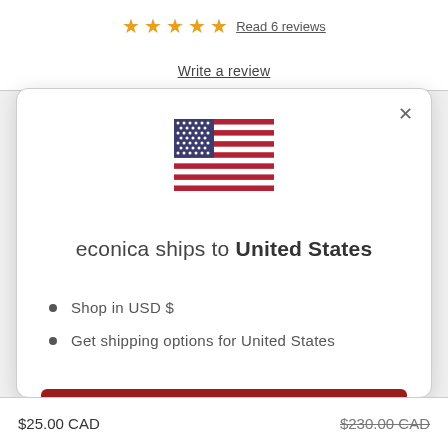★★★★★ Read 6 reviews
Write a review
[Figure (illustration): US flag icon showing stars and stripes]
econica ships to United States
Shop in USD $
Get shipping options for United States
Shop now
Change shipping country
$25.00 CAD
$230.00 CAD